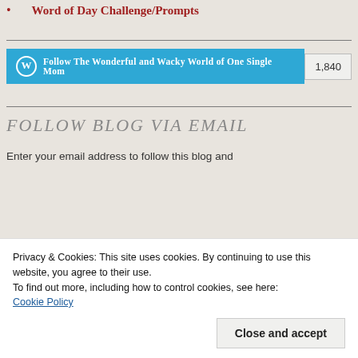Word of Day Challenge/Prompts
[Figure (other): WordPress Follow button with follower count 1,840 for 'The Wonderful and Wacky World of One Single Mom']
FOLLOW BLOG VIA EMAIL
Enter your email address to follow this blog and
Privacy & Cookies: This site uses cookies. By continuing to use this website, you agree to their use.
To find out more, including how to control cookies, see here:
Cookie Policy
Close and accept